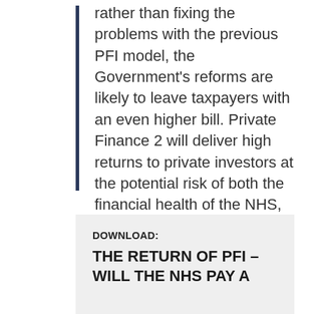rather than fixing the problems with the previous PFI model, the Government’s reforms are likely to leave taxpayers with an even higher bill. Private Finance 2 will deliver high returns to private investors at the potential risk of both the financial health of the NHS, and the health of the population it serves.”
DOWNLOAD:
THE RETURN OF PFI – WILL THE NHS PAY A